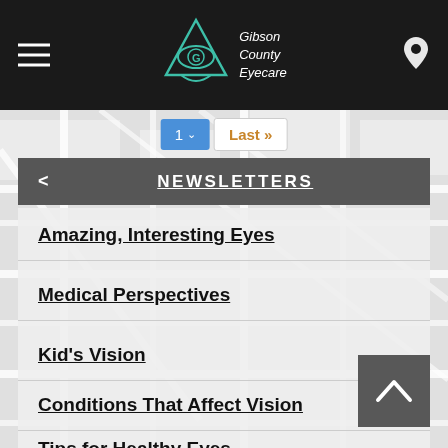[Figure (screenshot): Gibson County Eyecare website header with hamburger menu, logo, and map pin icon on dark background, with a street map in the background]
Gibson County Eyecare
1  Last >>
NEWSLETTERS
Amazing, Interesting Eyes
Medical Perspectives
Kid's Vision
Conditions That Affect Vision
Tips for Healthy Eyes